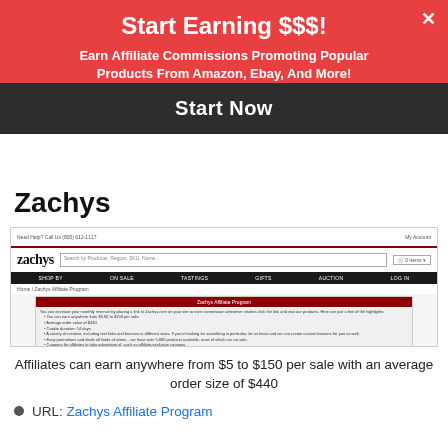Start Earning $$$!
Earn Affiliate Commissions Promoting Popular Products From Amazon, Ebay, And More!
Start Now
Zachys
[Figure (screenshot): Screenshot of Zachys website showing logo, search bar, navigation menu (SHOP BY, ON SALE, TASTINGS, GIFTS, AUCTION, LOG IN), and Zachys Affiliate Program information box]
Affiliates can earn anywhere from $5 to $150 per sale with an average order size of $440
URL: Zachys Affiliate Program